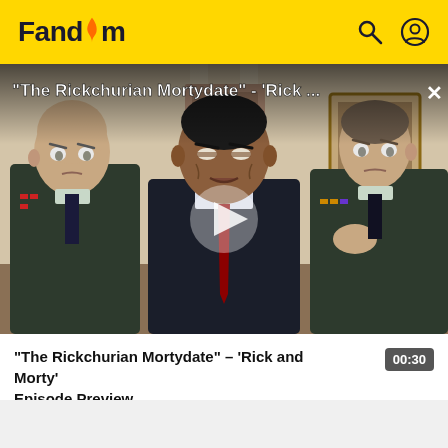Fandom
[Figure (screenshot): Animated scene from Rick and Morty episode 'The Rickchurian Mortydate' showing three cartoon characters in military and formal attire inside a formal room with columns. Title overlay reads: "The Rickchurian Mortydate" - 'Rick ...' with a play button in the center.]
"The Rickchurian Mortydate" - 'Rick and Morty' Episode Preview 00:30